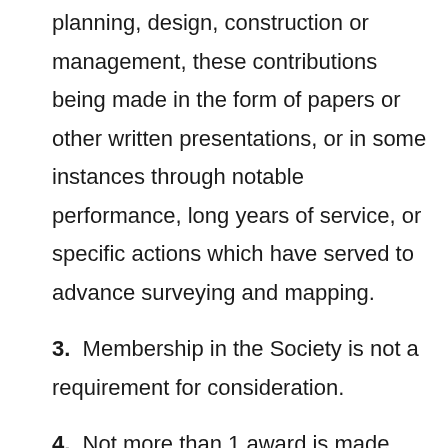planning, design, construction or management, these contributions being made in the form of papers or other written presentations, or in some instances through notable performance, long years of service, or specific actions which have served to advance surveying and mapping.
3.  Membership in the Society is not a requirement for consideration.
4.  Not more than 1 award is made each year unless the achievement upon which the award is based is considered to be the contribution of more than 1 person and